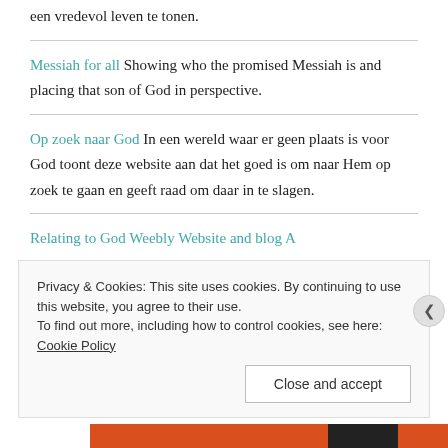een vredevol leven te tonen.
Messiah for all Showing who the promised Messiah is and placing that son of God in perspective.
Op zoek naar God In een wereld waar er geen plaats is voor God toont deze website aan dat het goed is om naar Hem op zoek te gaan en geeft raad om daar in te slagen.
Relating to God Weebly Website and blog A
Privacy & Cookies: This site uses cookies. By continuing to use this website, you agree to their use. To find out more, including how to control cookies, see here: Cookie Policy
Close and accept